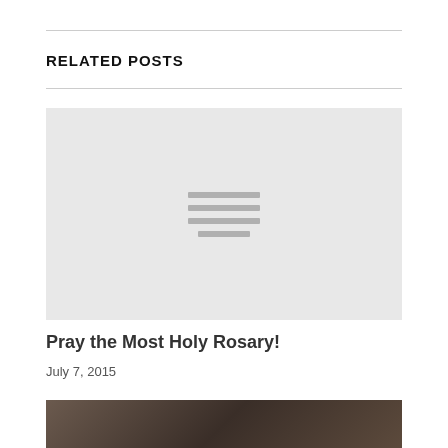RELATED POSTS
[Figure (photo): Light gray placeholder image with a hamburger/list icon in the center]
Pray the Most Holy Rosary!
July 7, 2015
[Figure (photo): Partial view of a dark-toned photograph showing figures, cropped at bottom of page]